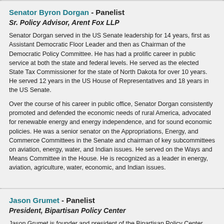Senator Byron Dorgan - Panelist
Sr. Policy Advisor, Arent Fox LLP
Senator Dorgan served in the US Senate leadership for 14 years, first as Assistant Democratic Floor Leader and then as Chairman of the Democratic Policy Committee. He has had a prolific career in public service at both the state and federal levels. He served as the elected State Tax Commissioner for the state of North Dakota for over 10 years. He served 12 years in the US House of Representatives and 18 years in the US Senate.
Over the course of his career in public office, Senator Dorgan consistently promoted and defended the economic needs of rural America, advocated for renewable energy and energy independence, and for sound economic policies. He was a senior senator on the Appropriations, Energy, and Commerce Committees in the Senate and chairman of key subcommittees on aviation, energy, water, and Indian issues. He served on the Ways and Means Committee in the House. He is recognized as a leader in energy, aviation, agriculture, water, economic, and Indian issues.
Jason Grumet - Panelist
President, Bipartisan Policy Center
Jason Grumet is founder and president of the Bipartisan Policy Center (BPC). Throughout his career, Grumet has worked at the intersection of policy and poli...